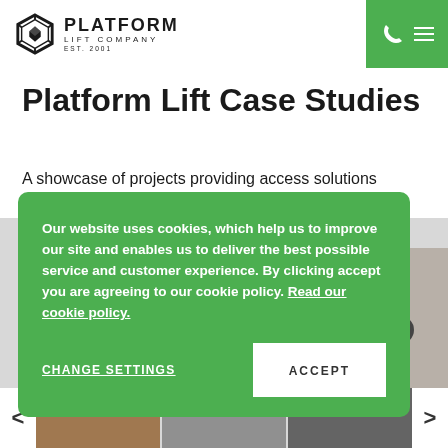[Figure (logo): Platform Lift Company logo with hexagon icon, brand name and EST. 2001]
Platform Lift Case Studies
A showcase of projects providing access solutions across
Our website uses cookies, which help us to improve our site and enables us to deliver the best possible service and customer experience. By clicking accept you are agreeing to our cookie policy. Read our cookie policy.
CHANGE SETTINGS
ACCEPT
[Figure (photo): Bottom thumbnail strip showing project images with left and right navigation arrows]